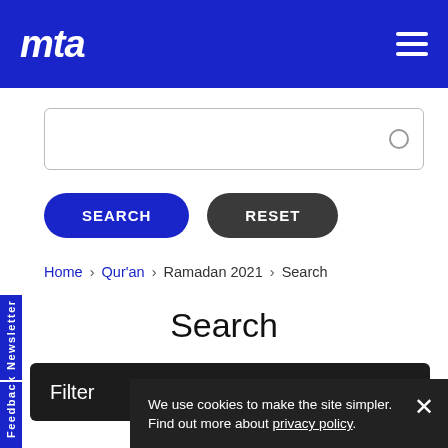mta
[Figure (screenshot): Search input box with magnifier icon]
SEARCH   RESET
Home › Qur'an › Ramadan 2021 › Search
Search
Filter ▶
We use cookies to make the site simpler. Find out more about privacy policy.